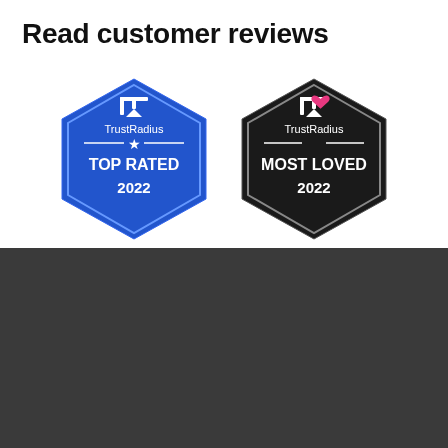Read customer reviews
[Figure (logo): TrustRadius Top Rated 2022 blue hexagon badge]
[Figure (logo): TrustRadius Most Loved 2022 black hexagon badge]
[Figure (logo): MindManager logo - white bowtie/butterfly icon with MindManager wordmark]
Why choose MindManager?
MindManager® helps individuals, teams, and enterprises bring greater clarity and structure to plans, projects, and processes. It